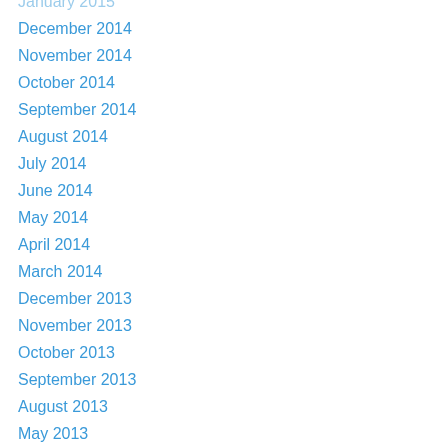January 2015 (partial, cut off at top)
December 2014
November 2014
October 2014
September 2014
August 2014
July 2014
June 2014
May 2014
April 2014
March 2014
December 2013
November 2013
October 2013
September 2013
August 2013
May 2013
April 2013
March 2013
February 2013
January 2013 (partial, cut off at bottom)